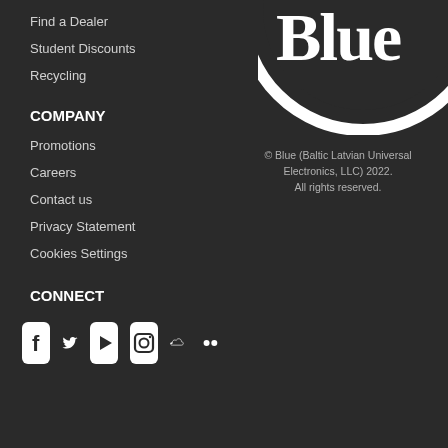Find a Dealer
Student Discounts
Recycling
[Figure (logo): Blue (Baltic Latvian Universal Electronics) logo — partial white circle with 'Blue' text visible at top right]
© Blue (Baltic Latvian Universal Electronics, LLC) 2022. All rights reserved.
COMPANY
Promotions
Careers
Contact us
Privacy Statement
Cookies Settings
CONNECT
[Figure (illustration): Social media icons row: Facebook, Twitter, YouTube, Instagram, SoundCloud, Flickr]